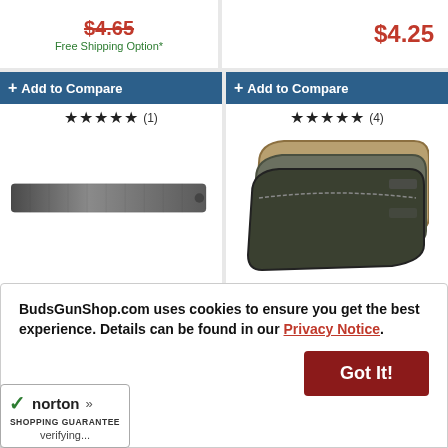[Figure (screenshot): Top strip showing prices: $4.65 (partially cropped) with Free Shipping Option* on left, $4.25 on right]
[Figure (screenshot): Product card: Allen Knit Gun Sock 52 GRY 6PK, 5 stars (1 review), $32.35]
[Figure (screenshot): Product card: Allen Handgun Case Assorted Color, 5 stars (4 reviews), $7.25, Free Shipping Option*]
[Figure (screenshot): Partial bottom row with two Add to Compare bars visible]
BudsGunShop.com uses cookies to ensure you get the best experience. Details can be found in our Privacy Notice.
[Figure (logo): Norton Shopping Guarantee badge with checkmark, verifying...]